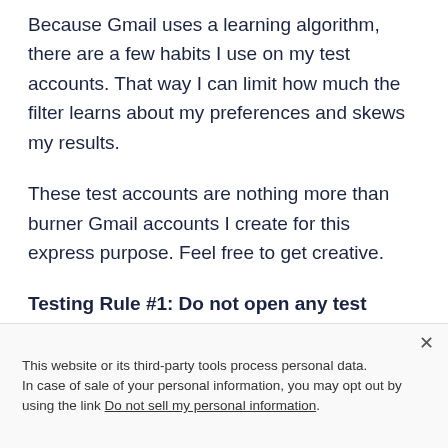Because Gmail uses a learning algorithm, there are a few habits I use on my test accounts. That way I can limit how much the filter learns about my preferences and skews my results.
These test accounts are nothing more than burner Gmail accounts I create for this express purpose. Feel free to get creative.
Testing Rule #1: Do not open any test emails in the primary test accounts. This will tell the filters
This website or its third-party tools process personal data.
In case of sale of your personal information, you may opt out by using the link Do not sell my personal information.